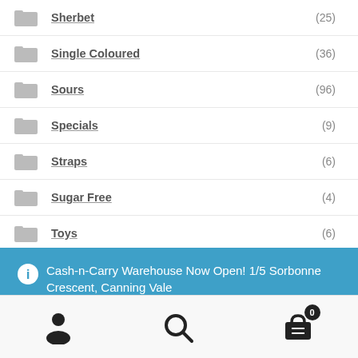Sherbet (25)
Single Coloured (36)
Sours (96)
Specials (9)
Straps (6)
Sugar Free (4)
Toys (6)
Uncategorized (6)
Cash-n-Carry Warehouse Now Open! 1/5 Sorbonne Crescent, Canning Vale
Dismiss